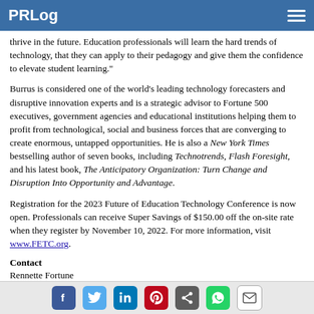PRLog
thrive in the future. Education professionals will learn the hard trends of technology, that they can apply to their pedagogy and give them the confidence to elevate student learning."
Burrus is considered one of the world's leading technology forecasters and disruptive innovation experts and is a strategic advisor to Fortune 500 executives, government agencies and educational institutions helping them to profit from technological, social and business forces that are converging to create enormous, untapped opportunities. He is also a New York Times bestselling author of seven books, including Technotrends, Flash Foresight, and his latest book, The Anticipatory Organization: Turn Change and Disruption Into Opportunity and Advantage.
Registration for the 2023 Future of Education Technology Conference is now open. Professionals can receive Super Savings of $150.00 off the on-site rate when they register by November 10, 2022. For more information, visit www.FETC.org.
Contact
Rennette Fortune
Social share icons: Facebook, Twitter, LinkedIn, Pinterest, Share, WhatsApp, Email